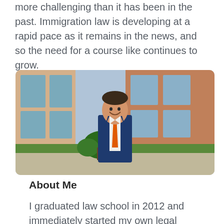more challenging than it has been in the past. Immigration law is developing at a rapid pace as it remains in the news, and so the need for a course like continues to grow.
[Figure (photo): Professional headshot of a man in a navy blue suit with an orange tie, standing outside in front of a brick building with large windows and greenery.]
About Me
I graduated law school in 2012 and immediately started my own legal